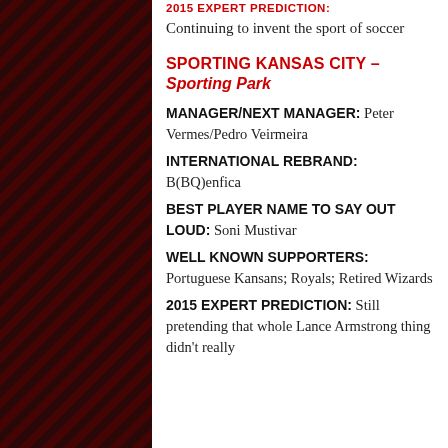2015 EXPERT PREDICTION: Continuing to invent the sport of soccer
SPORTING KANSAS CITY – Sporting Park
MANAGER/NEXT MANAGER: Peter Vermes/Pedro Veirmeira
INTERNATIONAL REBRAND: B(BQ)enfica
BEST PLAYER NAME TO SAY OUT LOUD: Soni Mustivar
WELL KNOWN SUPPORTERS: Portuguese Kansans; Royals; Retired Wizards
2015 EXPERT PREDICTION: Still pretending that whole Lance Armstrong thing didn't really